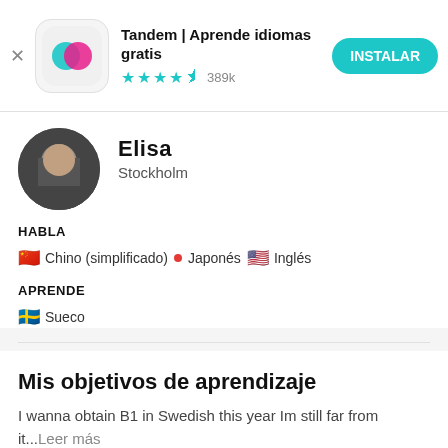[Figure (screenshot): Tandem app install banner with logo, star rating 389k, and INSTALAR button]
Elisa
Stockholm
HABLA
Chino (simplificado) • Japonés Inglés
APRENDE
Sueco
Mis objetivos de aprendizaje
I wanna obtain B1 in Swedish this year Im still far from it...Leer más